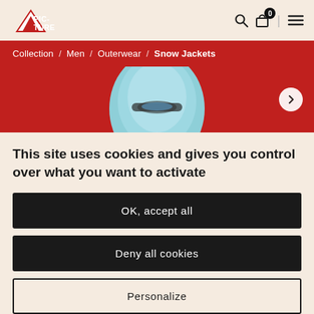Picture Organic Clothing logo, search icon, cart (0), menu
Collection / Men / Outerwear / Snow Jackets
[Figure (photo): Red background with a snow jacket helmet/hood product image (teal/blue color), partially visible at top. A circular arrow navigation button on the right.]
This site uses cookies and gives you control over what you want to activate
OK, accept all
Deny all cookies
Personalize